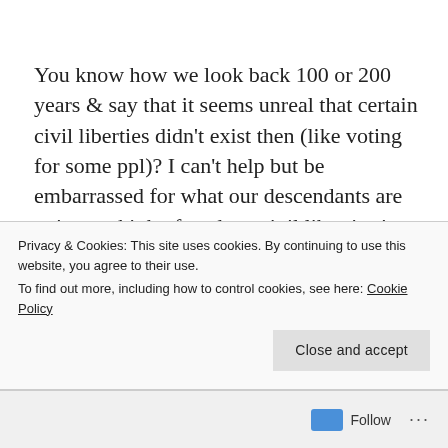You know how we look back 100 or 200 years & say that it seems unreal that certain civil liberties didn't exist then (like voting for some ppl)? I can't help but be embarrassed for what our descendants are going to think of us deny civil liberties in 2008!
On June 2nd, 1958, Richard Loving & Mildred Jeter were married. 5 weeks later, they were
Privacy & Cookies: This site uses cookies. By continuing to use this website, you agree to their use.
To find out more, including how to control cookies, see here: Cookie Policy